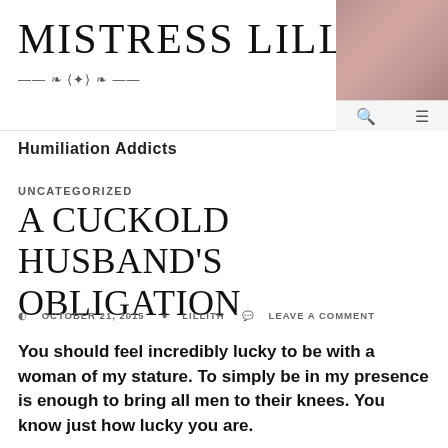MISTRESS LILLITH
[Figure (photo): Photo of a woman in top right corner of header]
Humiliation Addicts
UNCATEGORIZED
A CUCKOLD HUSBAND’S OBLIGATION
OCTOBER 21, 2015   LILLITH   LEAVE A COMMENT
You should feel incredibly lucky to be with a woman of my stature. To simply be in my presence is enough to bring all men to their knees. You know just how lucky you are.